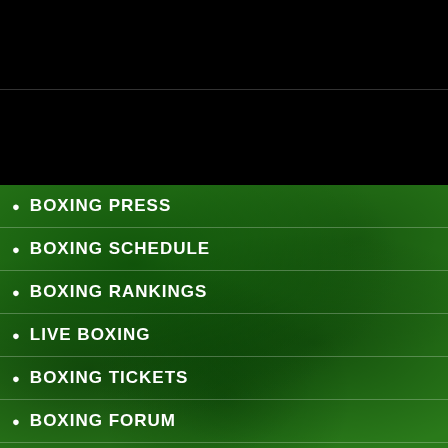[Figure (photo): Black header area with navigation banner, two horizontal sections separated by a line]
BOXING PRESS
BOXING SCHEDULE
BOXING RANKINGS
LIVE BOXING
BOXING TICKETS
BOXING FORUM
CONTACT US